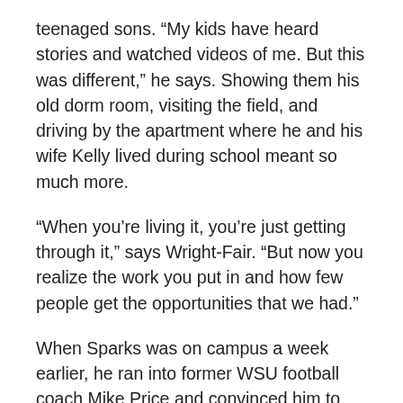teenaged sons. “My kids have heard stories and watched videos of me. But this was different,” he says. Showing them his old dorm room, visiting the field, and driving by the apartment where he and his wife Kelly lived during school meant so much more.
“When you’re living it, you’re just getting through it,” says Wright-Fair. “But now you realize the work you put in and how few people get the opportunities that we had.”
When Sparks was on campus a week earlier, he ran into former WSU football coach Mike Price and convinced him to alter his schedule to be in town and see some of the players who went with him to the 1992 Copper Bowl and the 1994 Alamo Bowl. The coach agreed. Having a flexible schedule is one